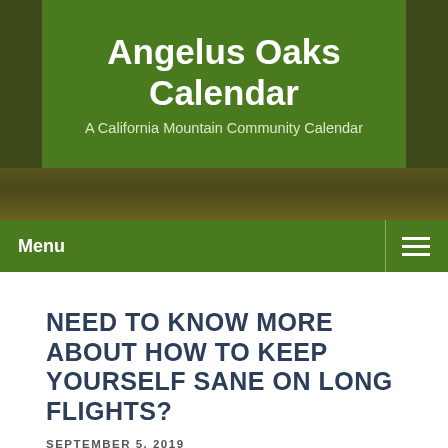Angelus Oaks Calendar
A California Mountain Community Calendar
Menu
NEED TO KNOW MORE ABOUT HOW TO KEEP YOURSELF SANE ON LONG FLIGHTS?
SEPTEMBER 5, 2019
What you can do relating to extensive plane tickets? Hmm…. that may be generally a toughie.
Organize. It's my job to bring along a smaller laptop, something like this cool travel-themed one. Create email